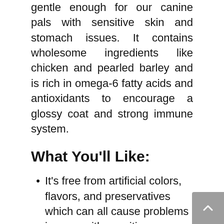gentle enough for our canine pals with sensitive skin and stomach issues. It contains wholesome ingredients like chicken and pearled barley and is rich in omega-6 fatty acids and antioxidants to encourage a glossy coat and strong immune system.
What You'll Like:
It's free from artificial colors, flavors, and preservatives which can all cause problems in pups with sensitive tummies.
Most customers have reported a substantial improvement in their pup's allergy symptoms since